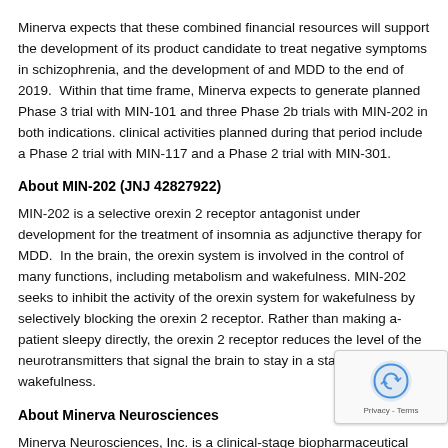Minerva expects that these combined financial resources will support the development of its product candidate to treat negative symptoms in schizophrenia, and the development of MIN-202 and MDD to the end of 2019.  Within that time frame, Minerva expects to generate data from a planned Phase 3 trial with MIN-101 and three Phase 2b trials with MIN-202 in both indications. Other clinical activities planned during that period include a Phase 2 trial with MIN-117 and a Phase 2 trial with MIN-301.
About MIN-202 (JNJ 42827922)
MIN-202 is a selective orexin 2 receptor antagonist under development for the treatment of insomnia as adjunctive therapy for MDD.  In the brain, the orexin system is involved in the control of many functions, including metabolism and wakefulness. MIN-202 seeks to inhibit the activity of the orexin system for wakefulness by selectively blocking the orexin 2 receptor. Rather than making a patient sleepy directly, the orexin 2 receptor reduces the level of the neurotransmitters that signal the brain to stay in a state of wakefulness.
About Minerva Neurosciences
Minerva Neurosciences, Inc. is a clinical-stage biopharmaceutical company focused on the development and commercialization of a portfolio of products to treat CNS diseases and disorders. Minerva's product candidates include: MIN-101, in clinical development for schizophrenia; MIN-117, in clinical development for major depressive disorder (MDD); MIN-202 (JNJ-42847922), in clinical development for insomnia/MDD; and MIN-201, in pre-clinical development for Parkinson's disease.  Minerva's common